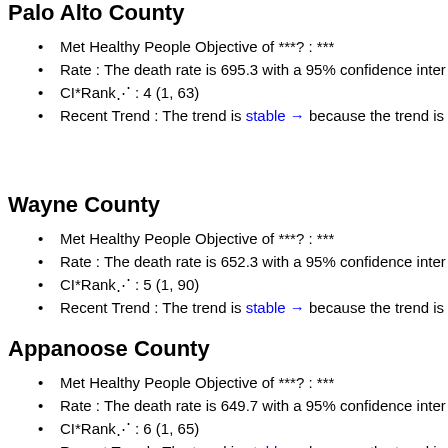Palo Alto County
Met Healthy People Objective of ***?: ***
Rate : The death rate is 695.3 with a 95% confidence inter
CI*Rank⋔ : 4 (1, 63)
Recent Trend : The trend is stable → because the trend is
Wayne County
Met Healthy People Objective of ***?: ***
Rate : The death rate is 652.3 with a 95% confidence inter
CI*Rank⋔ : 5 (1, 90)
Recent Trend : The trend is stable → because the trend is
Appanoose County
Met Healthy People Objective of ***?: ***
Rate : The death rate is 649.7 with a 95% confidence inter
CI*Rank⋔ : 6 (1, 65)
Recent Trend : The trend is stable → because the trend is